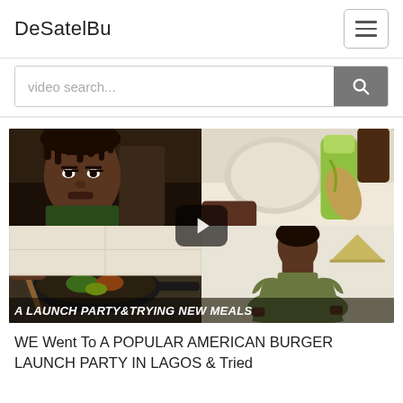DeSatelBu
[Figure (screenshot): Website header with logo 'DeSatelBu' on left and hamburger menu icon on right]
[Figure (screenshot): Search bar with placeholder text 'video search...' and a grey search button with magnifier icon]
[Figure (photo): Video thumbnail collage showing 4 panels: woman with braids in car, man with glasses in car, bowl and food prep, woman in green dress. Overlay text reads 'A LAUNCH PARTY & TRYING NEW MEALS' with a play button in center]
WE Went To A POPULAR AMERICAN BURGER LAUNCH PARTY IN LAGOS & Tried